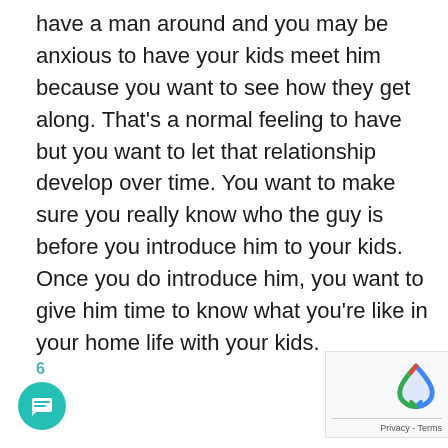have a man around and you may be anxious to have your kids meet him because you want to see how they get along. That's a normal feeling to have but you want to let that relationship develop over time. You want to make sure you really know who the guy is before you introduce him to your kids. Once you do introduce him, you want to give him time to know what you're like in your home life with your kids.
6
[Figure (other): Teal circular chat/message button with speech bubble icon, and reCAPTCHA logo with Privacy - Terms text]